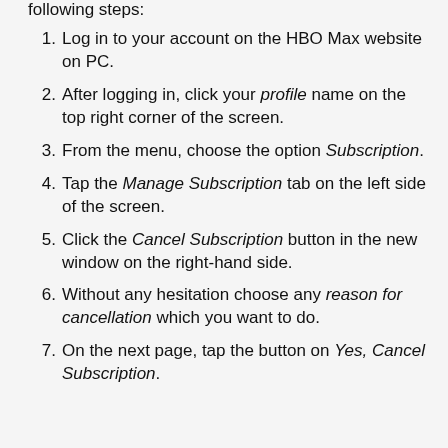following steps:
Log in to your account on the HBO Max website on PC.
After logging in, click your profile name on the top right corner of the screen.
From the menu, choose the option Subscription.
Tap the Manage Subscription tab on the left side of the screen.
Click the Cancel Subscription button in the new window on the right-hand side.
Without any hesitation choose any reason for cancellation which you want to do.
On the next page, tap the button on Yes, Cancel Subscription.